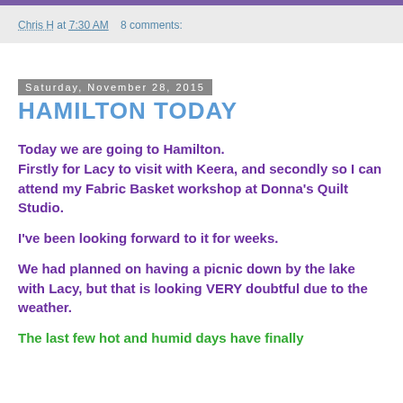Chris H at 7:30 AM   8 comments:
Saturday, November 28, 2015
HAMILTON TODAY
Today we are going to Hamilton.
Firstly for Lacy to visit with Keera, and secondly so I can attend my Fabric Basket workshop at Donna's Quilt Studio.
I've been looking forward to it for weeks.
We had planned on having a picnic down by the lake with Lacy, but that is looking VERY doubtful due to the weather.
The last few hot and humid days have finally